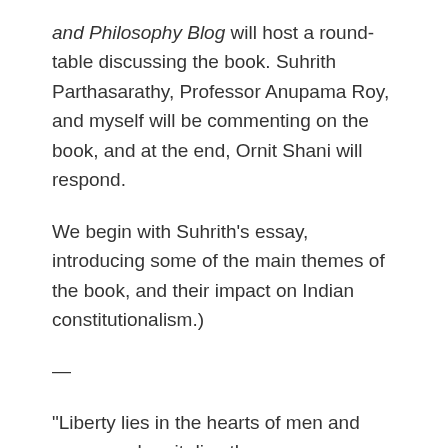and Philosophy Blog will host a round-table discussing the book. Suhrith Parthasarathy, Professor Anupama Roy, and myself will be commenting on the book, and at the end, Ornit Shani will respond.
We begin with Suhrith's essay, introducing some of the main themes of the book, and their impact on Indian constitutionalism.)
—
“Liberty lies in the hearts of men and women; when it dies there, no constitution, no law, no court can save it,” said Learned Hand in his famous address at New York’s Central Park in 1944 to an audience of newly naturalised American citizens. “No